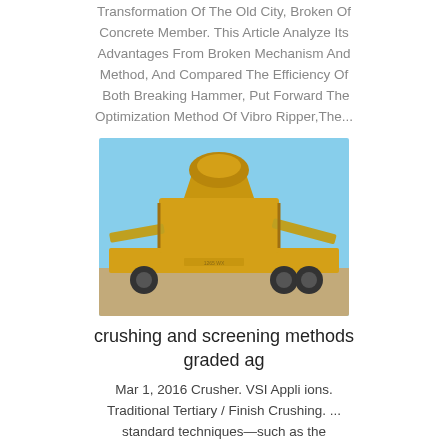Transformation Of The Old City, Broken Of Concrete Member. This Article Analyze Its Advantages From Broken Mechanism And Method, And Compared The Efficiency Of Both Breaking Hammer, Put Forward The Optimization Method Of Vibro Ripper,The...
[Figure (photo): Yellow mobile crushing and screening machine on a truck/trailer, photographed outdoors against a blue sky]
crushing and screening methods graded ag
Mar 1, 2016 Crusher. VSI Appli ions. Traditional Tertiary / Finish Crushing. ... standard techniques—such as the Understanding Mineral Liberation during Crushing Using Grade-by-Size Analysis—A